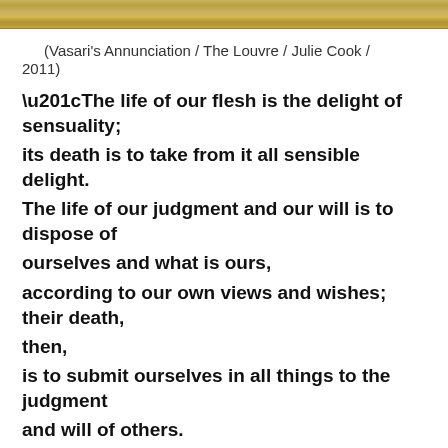[Figure (photo): Decorative strip showing a portion of Vasari's Annunciation painting from The Louvre, photographed by Julie Cook in 2011. Shows ornate golden frame detail.]
(Vasari's Annunciation / The Louvre / Julie Cook / 2011)
“The life of our flesh is the delight of sensuality; its death is to take from it all sensible delight. The life of our judgment and our will is to dispose of ourselves and what is ours, according to our own views and wishes; their death, then, is to submit ourselves in all things to the judgment and will of others. The life of the desire for esteem and respect is to be well thought of by everyone; its death, therefore, is to hide ourselves so as not to be known, by means of continual acts of humility and self-